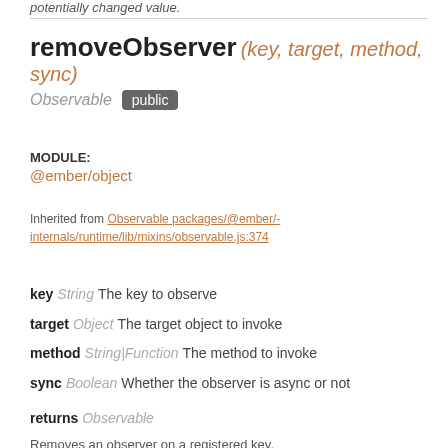potentially changed value.
removeObserver (key, target, method, sync)
Observable public
MODULE:
@ember/object
Inherited from Observable packages/@ember/-internals/runtime/lib/mixins/observable.js:374
key String  The key to observe
target Object  The target object to invoke
method String|Function  The method to invoke
sync Boolean  Whether the observer is async or not
returns Observable
Removes an observer on a registered key.